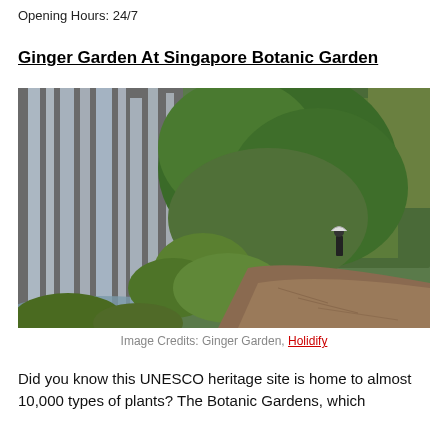Opening Hours: 24/7
Ginger Garden At Singapore Botanic Garden
[Figure (photo): Photo of the Ginger Garden at Singapore Botanic Garden showing a waterfall on the left side with lush green tropical foliage and a stone-paved path on the right, with a visitor in the background.]
Image Credits: Ginger Garden, Holidify
Did you know this UNESCO heritage site is home to almost 10,000 types of plants? The Botanic Gardens, which...